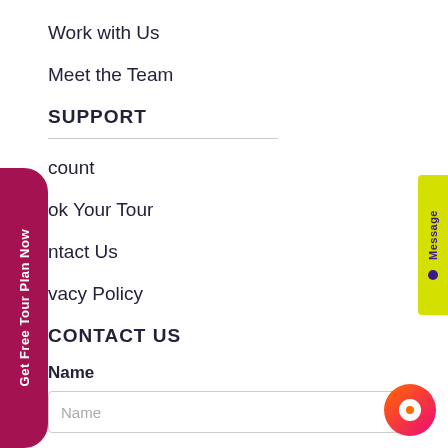Work with Us
Meet the Team
SUPPORT
count
ok Your Tour
ntact Us
vacy Policy
CONTACT US
Name
Name